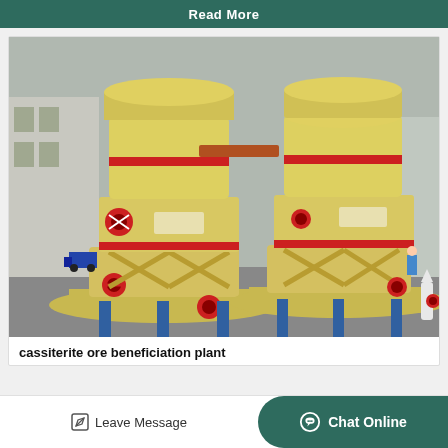Read More
[Figure (photo): Two large yellow industrial grinding mill machines (Raymond mills / beneficiation mills) outdoors in a factory yard. Each machine has a cylindrical top, red accent stripes, red valve handles, and sits on a blue metal base. Industrial buildings visible in the background.]
cassiterite ore beneficiation plant
Leave Message   Chat Online